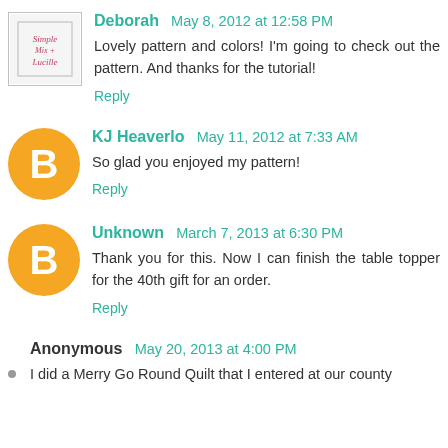Deborah May 8, 2012 at 12:58 PM
Lovely pattern and colors! I'm going to check out the pattern. And thanks for the tutorial!
Reply
KJ Heaverlo May 11, 2012 at 7:33 AM
So glad you enjoyed my pattern!
Reply
Unknown March 7, 2013 at 6:30 PM
Thank you for this. Now I can finish the table topper for the 40th gift for an order.
Reply
Anonymous May 20, 2013 at 4:00 PM
I did a Merry Go Round Quilt that I entered at our county